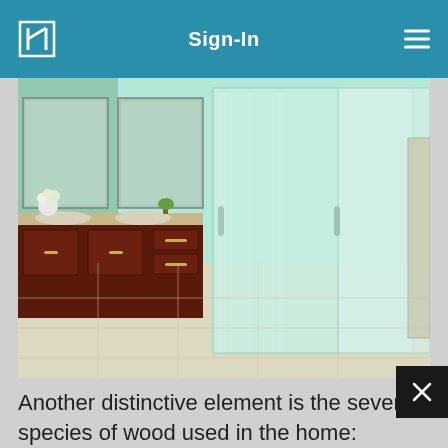Sign-In
[Figure (photo): Bathroom interior with dark wood vanity with two sinks and mirrors on the left, and a large frosted glass shower enclosure on the right, with light beige flooring.]
Another distinctive element is the seven species of wood used in the home: Douglas fir timbers, oak pegs, hickory floors, an African mahogany entry door, cedar siding and soffit, Ipe decking, and knotty alder cabinetry trim.